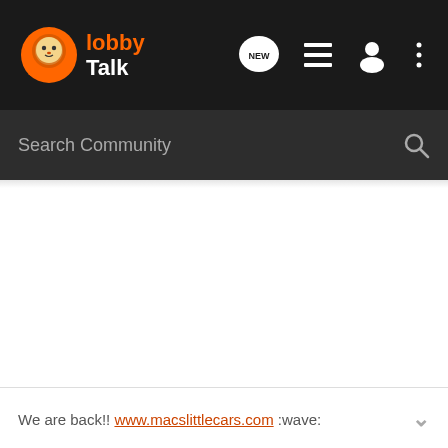[Figure (screenshot): LobbyTalk community forum web app screenshot showing top navigation bar with logo, NEW post button, list view icon, user icon, more options icon, and a Search Community search bar below.]
We are back!! www.macslittlecars.com :wave: